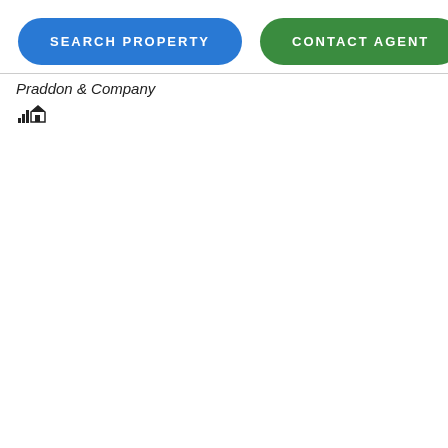[Figure (other): Two rounded pill-shaped buttons: 'SEARCH PROPERTY' in blue and 'CONTACT AGENT' in green]
Praddon & Company
[Figure (other): Small home/real estate icon with signal bars]